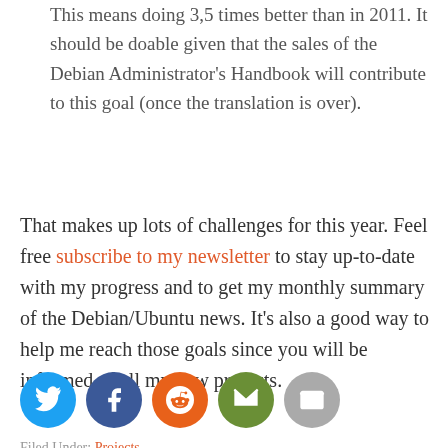This means doing 3,5 times better than in 2011. It should be doable given that the sales of the Debian Administrator's Handbook will contribute to this goal (once the translation is over).
That makes up lots of challenges for this year. Feel free subscribe to my newsletter to stay up-to-date with my progress and to get my monthly summary of the Debian/Ubuntu news. It's also a good way to help me reach those goals since you will be informed of all my new projects.
[Figure (infographic): Row of five social media icon circles: Twitter (blue), Facebook (dark blue), Reddit (orange), Newsletter (green), Email (gray)]
Filed Under: Projects